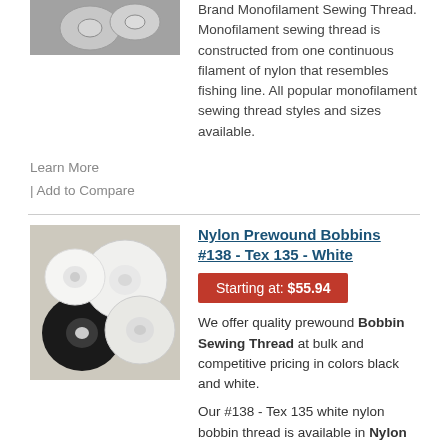[Figure (photo): Photo of monofilament thread spools, partially visible at top]
Brand Monofilament Sewing Thread. Monofilament sewing thread is constructed from one continuous filament of nylon that resembles fishing line. All popular monofilament sewing thread styles and sizes available.
Learn More
| Add to Compare
[Figure (photo): Photo of white and black nylon prewound bobbins on a light surface]
Nylon Prewound Bobbins #138 - Tex 135 - White
Starting at: $55.94
We offer quality prewound Bobbin Sewing Thread at bulk and competitive pricing in colors black and white.
Our #138 - Tex 135 white nylon bobbin thread is available in Nylon Prewound Bobbin Thread in all popular styles. Sewing machines use two separate threads to sew! A top-stitch comes from the spool on top and a bottom-stitch that comes from the bobbin. All machines come with bobbin winders. So, you have the option of using prewound bobbin